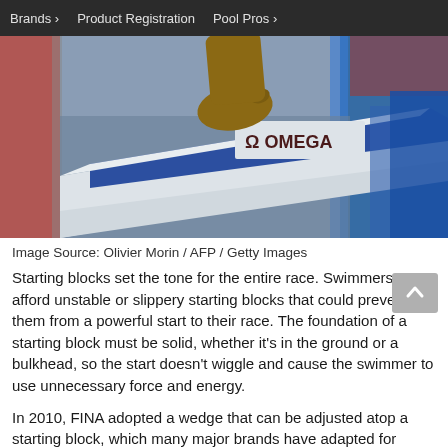Brands › Product Registration Pool Pros ›
[Figure (photo): Close-up photograph of a swimmer's foot on an Omega-branded starting block at a competition swimming pool. The starting block is white with blue padding and an Omega logo. Background shows blurred pool lane markers in red and blue.]
Image Source: Olivier Morin / AFP / Getty Images
Starting blocks set the tone for the entire race. Swimmers can't afford unstable or slippery starting blocks that could prevent them from a powerful start to their race. The foundation of a starting block must be solid, whether it's in the ground or a bulkhead, so the start doesn't wiggle and cause the swimmer to use unnecessary force and energy.
In 2010, FINA adopted a wedge that can be adjusted atop a starting block, which many major brands have adapted for